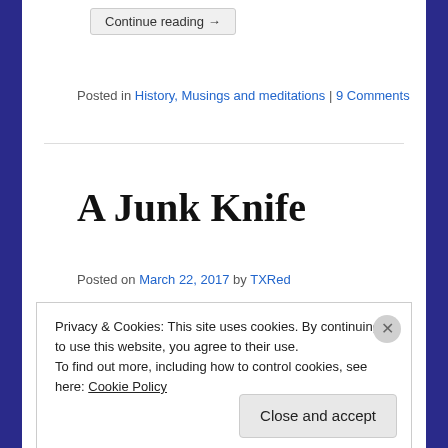Continue reading →
Posted in History, Musings and meditations | 9 Comments
A Junk Knife
Posted on March 22, 2017 by TXRed
Privacy & Cookies: This site uses cookies. By continuing to use this website, you agree to their use.
To find out more, including how to control cookies, see here: Cookie Policy
Close and accept